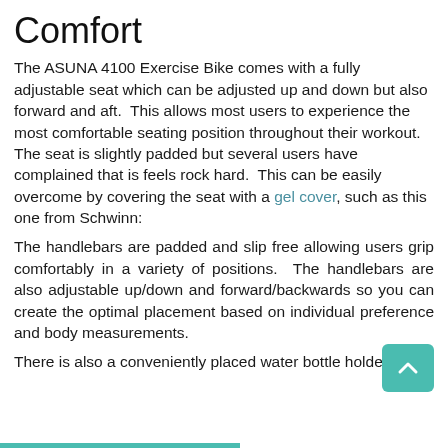Comfort
The ASUNA 4100 Exercise Bike comes with a fully adjustable seat which can be adjusted up and down but also forward and aft.  This allows most users to experience the most comfortable seating position throughout their workout.
The seat is slightly padded but several users have complained that is feels rock hard.  This can be easily overcome by covering the seat with a gel cover, such as this one from Schwinn:
The handlebars are padded and slip free allowing users grip comfortably in a variety of positions.  The handlebars are also adjustable up/down and forward/backwards so you can create the optimal placement based on individual preference and body measurements.
There is also a conveniently placed water bottle holder